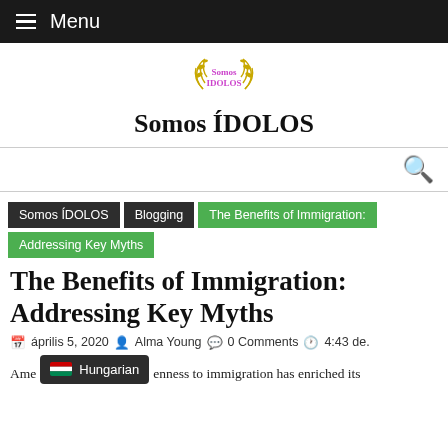≡ Menu
[Figure (logo): Somos IDOLOS wreath logo with purple and yellow text]
Somos ÍDOLOS
🔍
Somos ÍDOLOS › Blogging › The Benefits of Immigration: Addressing Key Myths
The Benefits of Immigration: Addressing Key Myths
április 5, 2020  Alma Young  0 Comments  4:43 de.
Ame… openness to immigration has enriched its